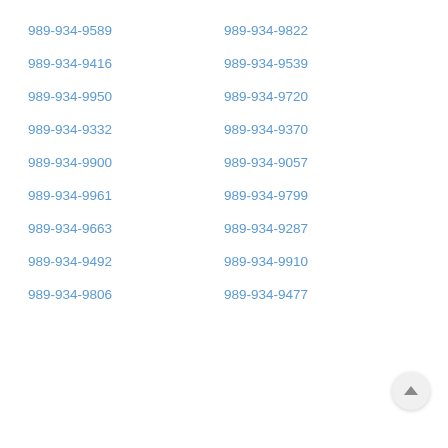989-934-9589
989-934-9822
989-934-9416
989-934-9539
989-934-9950
989-934-9720
989-934-9332
989-934-9370
989-934-9900
989-934-9057
989-934-9961
989-934-9799
989-934-9663
989-934-9287
989-934-9492
989-934-9910
989-934-9806
989-934-9477